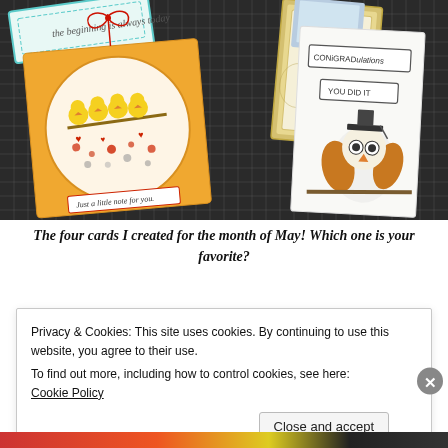[Figure (photo): A photograph showing four handmade greeting cards arranged on a dark cutting mat grid surface. Cards include: a yellow shaker card with chicks on a branch inside a circular window and a red bow, text 'Just a little note for you.'; a teal scalloped-edge card with cursive text; a gold/cream embossed card bundle; and a white graduation card with an owl wearing a graduation cap, text 'CONiGRADulations' and 'YOU DID IT'.]
The four cards I created for the month of May! Which one is your favorite?
Privacy & Cookies: This site uses cookies. By continuing to use this website, you agree to their use.
To find out more, including how to control cookies, see here: Cookie Policy